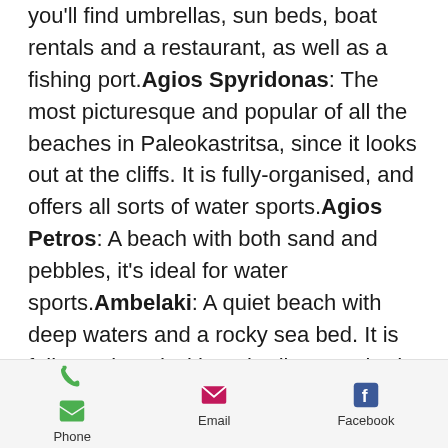you'll find umbrellas, sun beds, boat rentals and a restaurant, as well as a fishing port. Agios Spyridonas: The most picturesque and popular of all the beaches in Paleokastritsa, since it looks out at the cliffs. It is fully-organised, and offers all sorts of water sports. Agios Petros: A beach with both sand and pebbles, it's ideal for water sports. Ambelaki: A quiet beach with deep waters and a rocky sea bed. It is fully-equipped with umbrellas, sun beds and boat rentals. Platakia: Two neighbouring beaches with pebbles, umbrellas, sun beds and a restaurant.
Phone | Email | Facebook